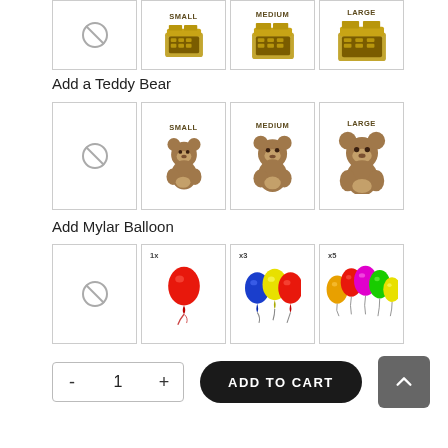[Figure (screenshot): Row of 4 option boxes: no selection (circle-slash icon), SMALL chocolate box icon, MEDIUM chocolate box icon, LARGE chocolate box icon]
Add a Teddy Bear
[Figure (screenshot): Row of 4 option boxes: no selection (circle-slash icon), SMALL teddy bear icon, MEDIUM teddy bear icon, LARGE teddy bear icon]
Add Mylar Balloon
[Figure (screenshot): Row of 4 option boxes: no selection (circle-slash icon), 1x single red balloon, x3 three balloons, x5 five balloons]
- 1 + ADD TO CART